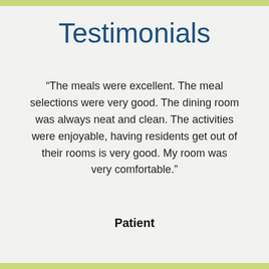Testimonials
“The meals were excellent. The meal selections were very good. The dining room was always neat and clean. The activities were enjoyable, having residents get out of their rooms is very good. My room was very comfortable.”
Patient